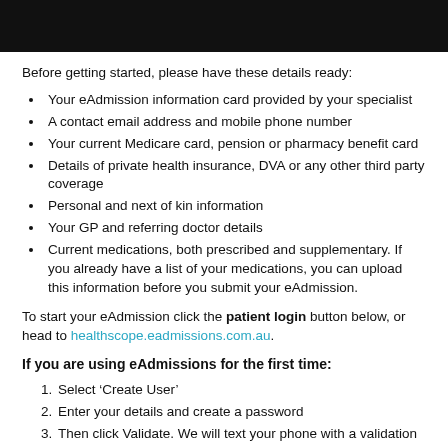[Figure (other): Black header bar at the top of the page]
Before getting started, please have these details ready:
Your eAdmission information card provided by your specialist
A contact email address and mobile phone number
Your current Medicare card, pension or pharmacy benefit card
Details of private health insurance, DVA or any other third party coverage
Personal and next of kin information
Your GP and referring doctor details
Current medications, both prescribed and supplementary. If you already have a list of your medications, you can upload this information before you submit your eAdmission.
To start your eAdmission click the patient login button below, or head to healthscope.eadmissions.com.au.
If you are using eAdmissions for the first time:
Select ‘Create User’
Enter your details and create a password
Then click Validate. We will text your phone with a validation code, enter that into the box on the screen and select